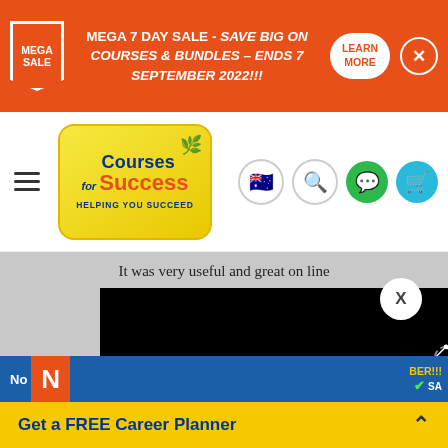MEGA 7 DAY SALE - SAVE BIG ON COURSES & BUNDLES – ENDS 7 SEPTEMBER 2022!!! LEARN MORE
[Figure (logo): Courses for Success logo with yellow rounded rectangle background, blue and orange text reading 'Courses for Success - HELPING YOU SUCCEED']
It was very useful and great on line course It provide more flexible for self
[Figure (screenshot): Black video player overlay with loading spinner and 'loading' text, with white X close button]
Get a FREE Career Planner